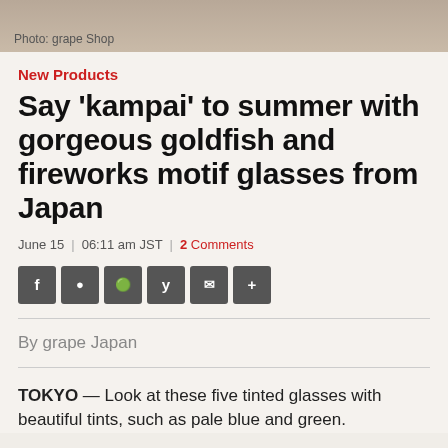[Figure (photo): Top photo bar with muted brownish-tan gradient, photo credit caption 'Photo: grape Shop']
Photo: grape Shop
New Products
Say 'kampai' to summer with gorgeous goldfish and fireworks motif glasses from Japan
June 15 | 06:11 am JST | 2 Comments
[Figure (infographic): Social share buttons: Facebook, Messenger, Reddit, Twitter, Email, More (+)]
By grape Japan
TOKYO — Look at these five tinted glasses with beautiful tints, such as pale blue and green.